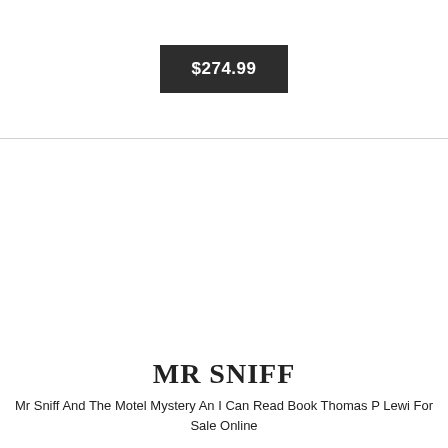$274.99
MR SNIFF
Mr Sniff And The Motel Mystery An I Can Read Book Thomas P Lewi For Sale Online